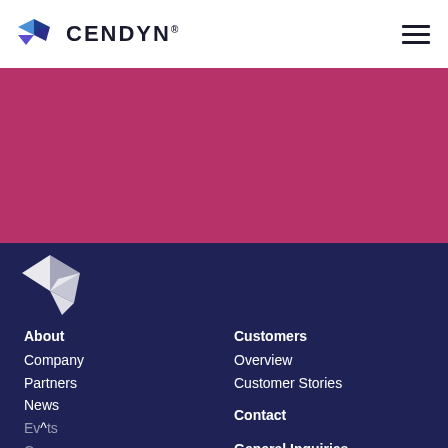CENDYN® [logo with hamburger menu]
[Figure (illustration): Pink/magenta background section]
[Figure (logo): White Cendyn arrow/bird logo on dark navy background]
About
Company
Partners
News
Events
Careers
Ovations
Customers
Overview
Customer Stories
Contact
General Inquiries